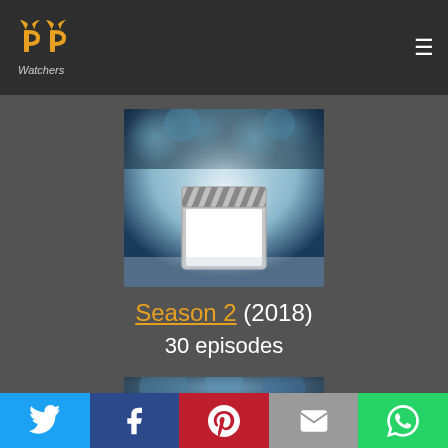[Figure (logo): PP Watchers logo - two golden P letters with horns on dark background, with italic 'Watchers' text below]
[Figure (photo): Movie/TV show placeholder poster with blue bokeh circles at top and a film clapperboard icon in center on light background]
Season 2 (2018)
30 episodes
[Figure (photo): Partially visible second movie/show poster at bottom]
Twitter | Facebook | Pinterest | Email | WhatsApp share buttons